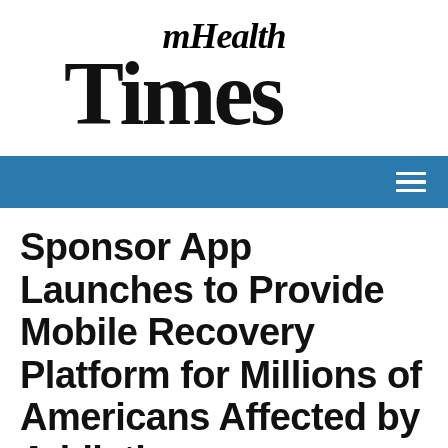[Figure (logo): mHealth Times newspaper-style logo with blackletter/gothic font]
navigation bar with hamburger menu icon
Sponsor App Launches to Provide Mobile Recovery Platform for Millions of Americans Affected by Addiction